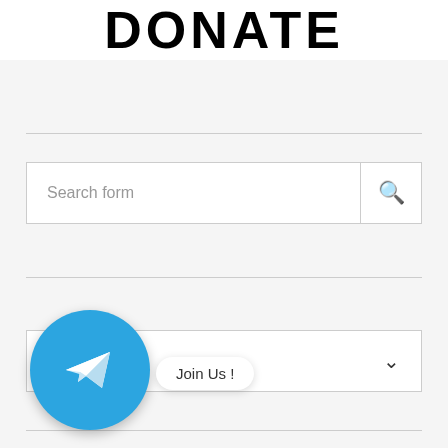DONATE
Search form
[Figure (infographic): Telegram messenger circle icon with paper plane logo and 'Join Us!' speech bubble tooltip]
Join Us !